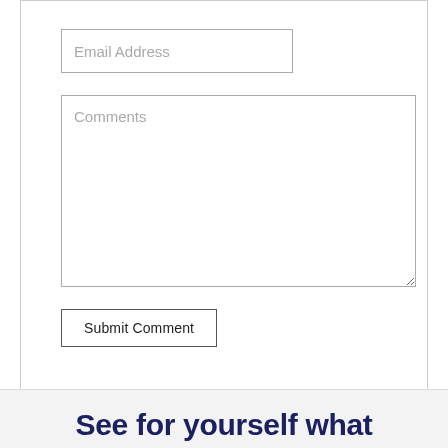Email Address
Comments
Submit Comment
See for yourself what